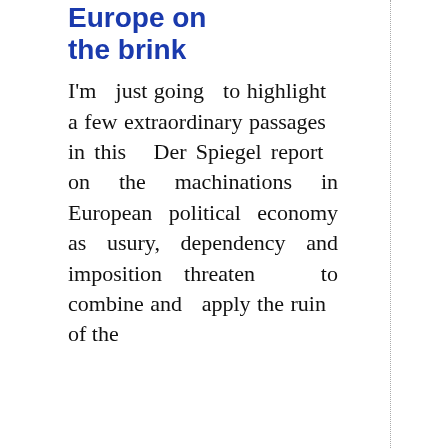Europe on the brink
I'm just going to highlight a few extraordinary passages in this Der Spiegel report on the machinations in European political economy as usury, dependency and imposition threaten to combine and apply the ruin of the…